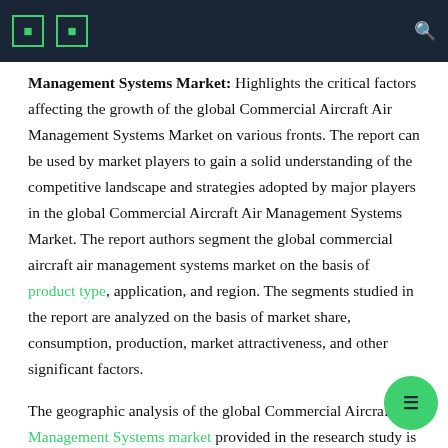Management Systems Market: Highlights the critical factors affecting the growth of the global Commercial Aircraft Air Management Systems Market on various fronts. The report can be used by market players to gain a solid understanding of the competitive landscape and strategies adopted by major players in the global Commercial Aircraft Air Management Systems Market. The report authors segment the global commercial aircraft air management systems market on the basis of product type, application, and region. The segments studied in the report are analyzed on the basis of market share, consumption, production, market attractiveness, and other significant factors.
The geographic analysis of the global Commercial Aircraft Air Management Systems market provided in the research study is a smart tool that stakeholders can use to identify lucrative regional